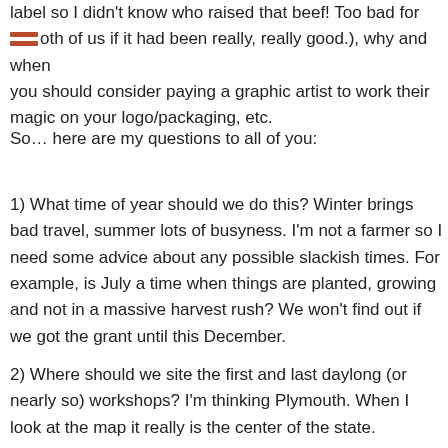label so I didn't know who raised that beef! Too bad for both of us if it had been really, really good.), why and when you should consider paying a graphic artist to work their magic on your logo/packaging, etc.
So… here are my questions to all of you:
1) What time of year should we do this? Winter brings bad travel, summer lots of busyness. I'm not a farmer so I need some advice about any possible slackish times. For example, is July a time when things are planted, growing and not in a massive harvest rush? We won't find out if we got the grant until this December.
2) Where should we site the first and last daylong (or nearly so) workshops? I'm thinking Plymouth. When I look at the map it really is the center of the state.